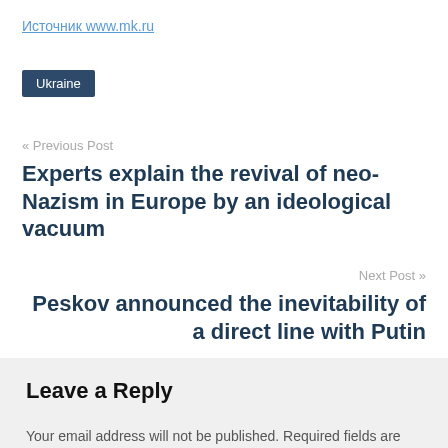Источник www.mk.ru
Ukraine
« Previous Post
Experts explain the revival of neo-Nazism in Europe by an ideological vacuum
Next Post »
Peskov announced the inevitability of a direct line with Putin
Leave a Reply
Your email address will not be published. Required fields are marked *